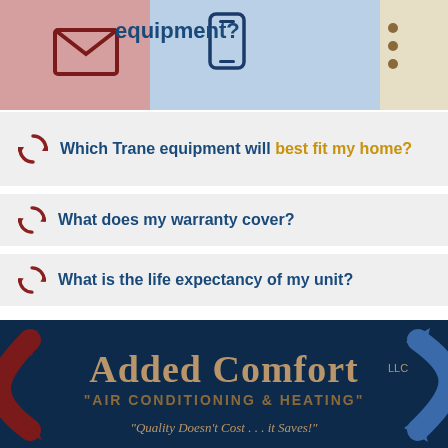[Figure (infographic): Top colored header bar with icons (envelope, phone, dots) and partial text 'equipment?']
Which Trane equipment will best fit my home?
What does my warranty cover?
What is the life expectancy of my unit?
[Figure (logo): Added Comfort LLC Air Conditioning & Heating logo with circular arrows on dark navy background and tagline: "Quality Doesn't Cost . . . it Saves!"]